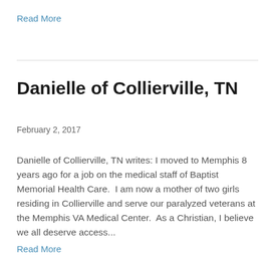Read More
Danielle of Collierville, TN
February 2, 2017
Danielle of Collierville, TN writes: I moved to Memphis 8 years ago for a job on the medical staff of Baptist Memorial Health Care.  I am now a mother of two girls residing in Collierville and serve our paralyzed veterans at the Memphis VA Medical Center.  As a Christian, I believe we all deserve access...
Read More